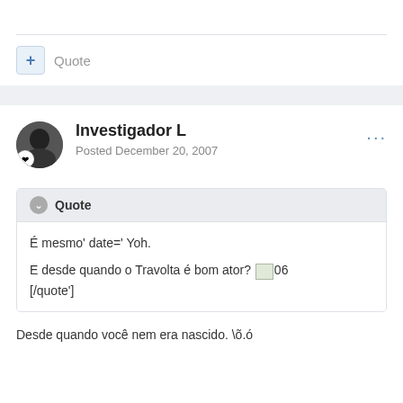+ Quote
Investigador L
Posted December 20, 2007
Quote
É mesmo' date=' Yoh.

E desde quando o Travolta é bom ator? 06
[/quote']
Desde quando você nem era nascido. \õ.ó